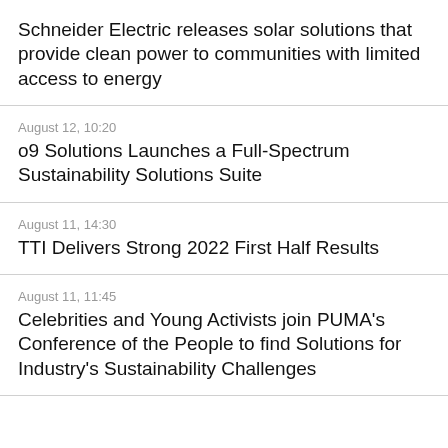Schneider Electric releases solar solutions that provide clean power to communities with limited access to energy
August 12, 10:20
o9 Solutions Launches a Full-Spectrum Sustainability Solutions Suite
August 11, 14:30
TTI Delivers Strong 2022 First Half Results
August 11, 11:45
Celebrities and Young Activists join PUMA's Conference of the People to find Solutions for Industry's Sustainability Challenges